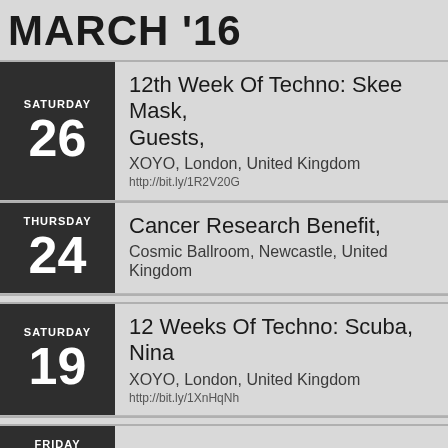MARCH '16
SATURDAY 26 — 12th Week Of Techno: Skee Mask, Guests, — XOYO, London, United Kingdom — http://bit.ly/1R2V20G
THURSDAY 24 — Cancer Research Benefit, — Cosmic Ballroom, Newcastle, United Kingdom
SATURDAY 19 — 12 Weeks Of Techno: Scuba, Nina — XOYO, London, United Kingdom — http://bit.ly/1XnHqNh
FRIDAY 18 — MMA, — MMA, Munich, Germany